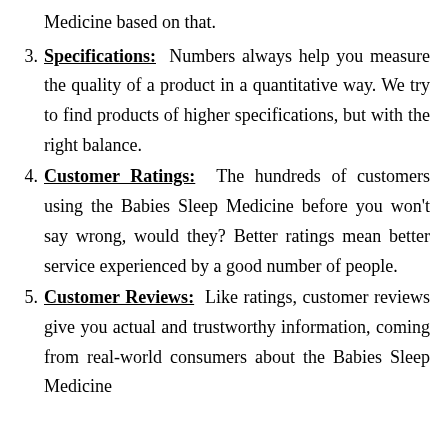Medicine based on that.
3. Specifications: Numbers always help you measure the quality of a product in a quantitative way. We try to find products of higher specifications, but with the right balance.
4. Customer Ratings: The hundreds of customers using the Babies Sleep Medicine before you won't say wrong, would they? Better ratings mean better service experienced by a good number of people.
5. Customer Reviews: Like ratings, customer reviews give you actual and trustworthy information, coming from real-world consumers about the Babies Sleep Medicine